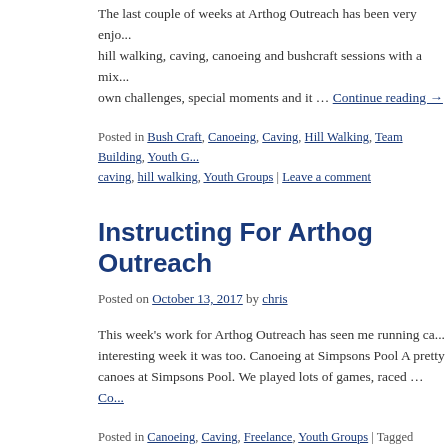The last couple of weeks at Arthog Outreach has been very enjo... hill walking, caving, canoeing and bushcraft sessions with a mix... own challenges, special moments and it … Continue reading →
Posted in Bush Craft, Canoeing, Caving, Hill Walking, Team Building, Youth G... caving, hill walking, Youth Groups | Leave a comment
Instructing For Arthog Outreach
Posted on October 13, 2017 by chris
This week's work for Arthog Outreach has seen me running ca... interesting week it was too. Canoeing at Simpsons Pool A pretty canoes at Simpsons Pool. We played lots of games, raced … Co...
Posted in Canoeing, Caving, Freelance, Youth Groups | Tagged canoeing, ca... adventure | Leave a comment
Working for Arthog Outreach